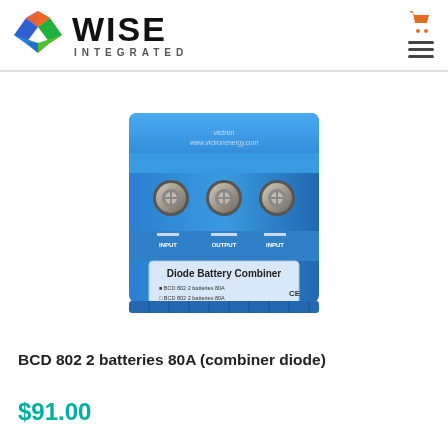[Figure (logo): Wise Integrated logo with hexagonal colorful gem icon and bold WISE text with INTEGRATED subtitle]
[Figure (photo): Victron Energy BCD 802 Diode Battery Combiner device, blue rectangular unit with three bolt terminals on top and INPUT/OUTPUT labels, 2 batteries 80A]
BCD 802 2 batteries 80A (combiner diode)
$91.00